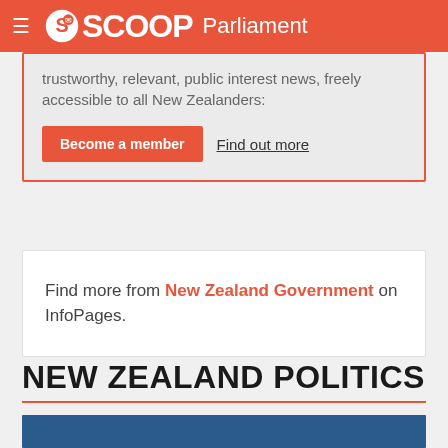SCOOP Parliament
trustworthy, relevant, public interest news, freely accessible to all New Zealanders:
Become a member   Find out more
Find more from New Zealand Government on InfoPages.
NEW ZEALAND POLITICS
[Figure (photo): Blue photo strip at bottom of page]